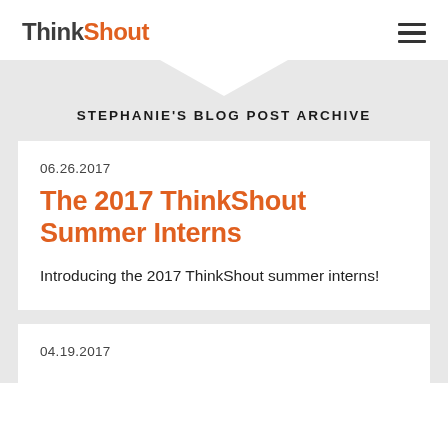ThinkShout
STEPHANIE'S BLOG POST ARCHIVE
06.26.2017
The 2017 ThinkShout Summer Interns
Introducing the 2017 ThinkShout summer interns!
04.19.2017